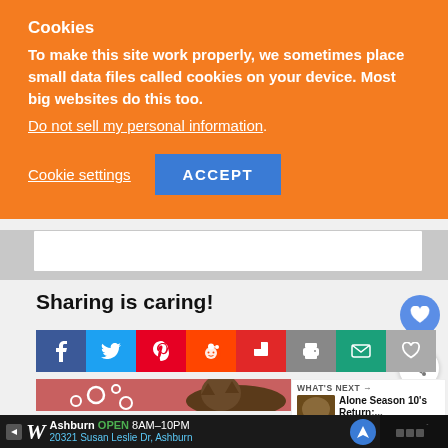Cookies
To make this site work properly, we sometimes place small data files called cookies on your device. Most big websites do this too.
Do not sell my personal information.
Cookie settings  ACCEPT
Sharing is caring!
[Figure (screenshot): Row of social sharing icon buttons: Facebook, Twitter, Pinterest, Reddit, Flipboard, Print, Email, Heart/Like]
[Figure (photo): Cat image with heart decorations on pink background, WHAT'S NEXT panel showing Alone Season 10's Return]
[Figure (screenshot): Walgreens advertisement bar: Ashburn OPEN 8AM-10PM, 20321 Susan Leslie Dr, Ashburn]